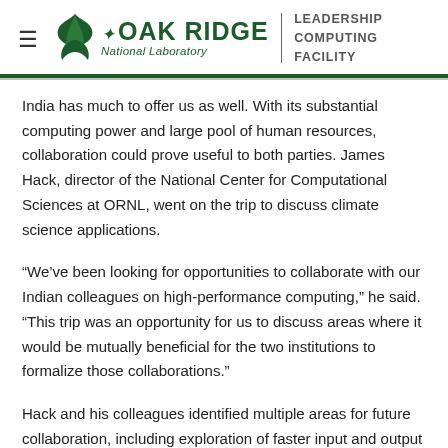Oak Ridge National Laboratory | Leadership Computing Facility
India has much to offer us as well. With its substantial computing power and large pool of human resources, collaboration could prove useful to both parties. James Hack, director of the National Center for Computational Sciences at ORNL, went on the trip to discuss climate science applications.
“We’ve been looking for opportunities to collaborate with our Indian colleagues on high-performance computing,” he said. “This trip was an opportunity for us to discuss areas where it would be mutually beneficial for the two institutions to formalize those collaborations.”
Hack and his colleagues identified multiple areas for future collaboration, including exploration of faster input and output